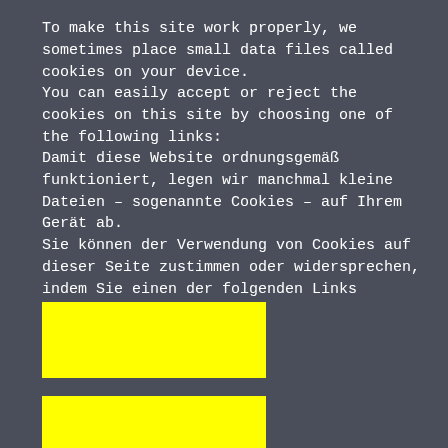To make this site work properly, we sometimes place small data files called cookies on your device.
You can easily accept or reject the cookies on this site by choosing one of the following links:
Damit diese Website ordnungsgemäß funktioniert, legen wir manchmal kleine Dateien – sogenannte Cookies – auf Ihrem Gerät ab.
Sie können der Verwendung von Cookies auf dieser Seite zustimmen oder widersprechen, indem Sie einen der folgenden Links anklicken:
[Figure (other): Yellow button/link rectangle (first)]
[Figure (other): Yellow button/link rectangle (second, partially visible)]